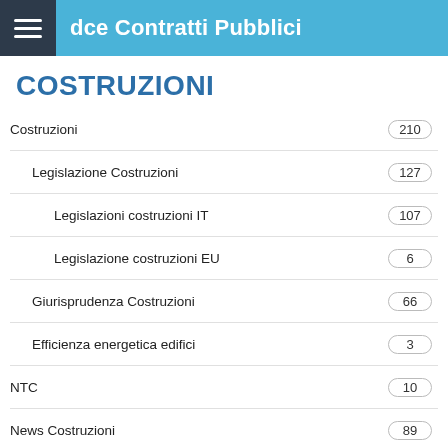Codice Contratti Pubblici
COSTRUZIONI
Costruzioni — 210
Legislazione Costruzioni — 127
Legislazioni costruzioni IT — 107
Legislazione costruzioni EU — 6
Giurisprudenza Costruzioni — 66
Efficienza energetica edifici — 3
NTC — 10
News Costruzioni — 89
Documenti Costruzioni — 104
Documenti Costruzioni Enti — 38
Documenti Costruzioni UE — 3
Documenti Costruzioni CSLLPP — 10
Documenti riservati Costruzioni
Norme tecniche — 1